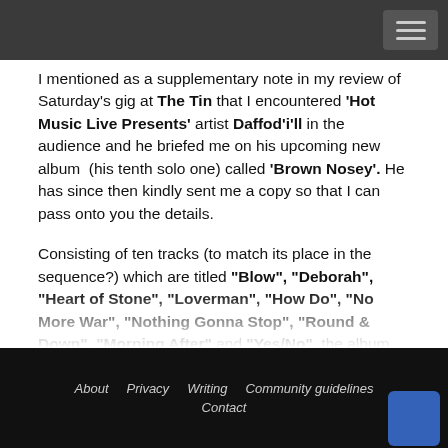Navigation bar
I mentioned as a supplementary note in my review of Saturday's gig at The Tin that I encountered 'Hot Music Live Presents' artist Daffod'i'll in the audience and he briefed me on his upcoming new album (his tenth solo one) called 'Brown Nosey'. He has since then kindly sent me a copy so that I can pass onto you the details.
Consisting of ten tracks (to match its place in the sequence?) which are titled "Blow", "Deborah", "Heart of Stone", "Loverman", "How Do", "No More War", "Nothing Gonna Stop", "Round & Down", "Morning After" and "Yes/No", the album follows 'I Stripped Bare' which I told you about as recently as last month (he is certainly on a prolific
About   Privacy   Writing   Community guidelines   Contact